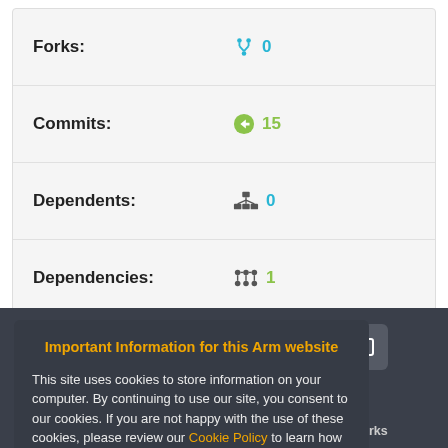| Property | Value |
| --- | --- |
| Forks: | 0 |
| Commits: | 15 |
| Dependents: | 0 |
| Dependencies: | 1 |
| Followers: | 2 |
Important Information for this Arm website
This site uses cookies to store information on your computer. By continuing to use our site, you consent to our cookies. If you are not happy with the use of these cookies, please review our Cookie Policy to learn how they can be disabled. By disabling cookies, some features of the site will not work.
Accept and hide this message
mited (or its affiliates). Home | Website Terms | Privacy | Cookies | Trademarks